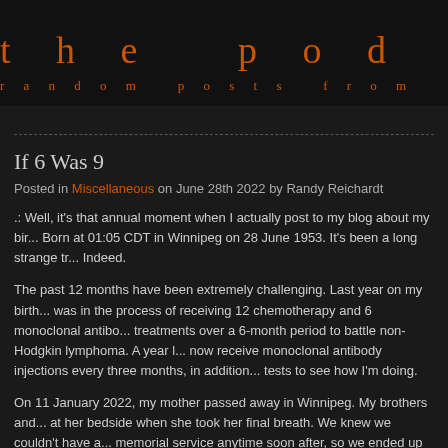the pod bay — random posts from the outskirt
If 6 Was 9
Posted in Miscellaneous on June 28th 2022 by Randy Reichardt
.: Well, it's that annual moment when I actually post to my blog about my bir... Born at 01:05 CDT in Winnipeg on 28 June 1953. It's been a long strange tr... Indeed.
The past 12 months have been extremely challenging. Last year on my birth... was in the process of receiving 12 chemotherapy and 6 monoclonal antibod... treatments over a 6-month period to battle non-Hodgkin lymphoma. A year l... now receive monoclonal antibody injections every three months, in addition... tests to see how I'm doing.
On 11 January 2022, my mother passed away in Winnipeg. My brothers and... at her bedside when she took her final breath. We knew we couldn't have a... memorial service anytime soon after, so we ended up planning for some...